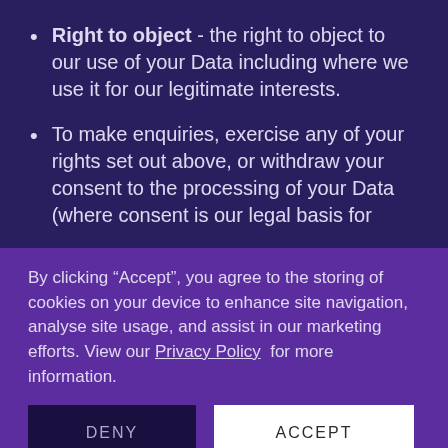Right to object - the right to object to our use of your Data including where we use it for our legitimate interests.
To make enquiries, exercise any of your rights set out above, or withdraw your consent to the processing of your Data (where consent is our legal basis for
By clicking “Accept”, you agree to the storing of cookies on your device to enhance site navigation, analyse site usage, and assist in our marketing efforts. View our Privacy Policy for more information.
DENY
ACCEPT